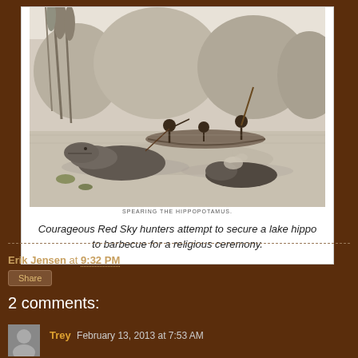[Figure (illustration): Black and white engraving of hunters in a boat spearing a hippopotamus in a lake or river, with reeds in the background. Caption beneath reads: SPEARING THE HIPPOPOTAMUS]
Courageous Red Sky hunters attempt to secure a lake hippo to barbecue for a religious ceremony.
Erik Jensen at 9:32 PM
Share
2 comments:
Trey February 13, 2013 at 7:53 AM